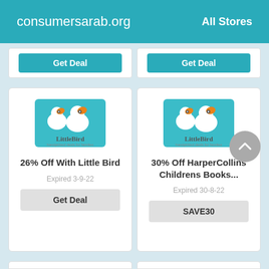consumersarab.org   All Stores
[Figure (screenshot): Partial deal cards at top showing teal 'Get Deal' buttons from previous scroll position]
[Figure (logo): LittleBird logo - two cartoon birds on teal background with 'LittleBird' text]
26% Off With Little Bird
Expired 3-9-22
Get Deal
[Figure (logo): LittleBird logo - two cartoon birds on teal background with 'LittleBird' text]
30% Off HarperCollins Childrens Books...
Expired 30-8-22
SAVE30